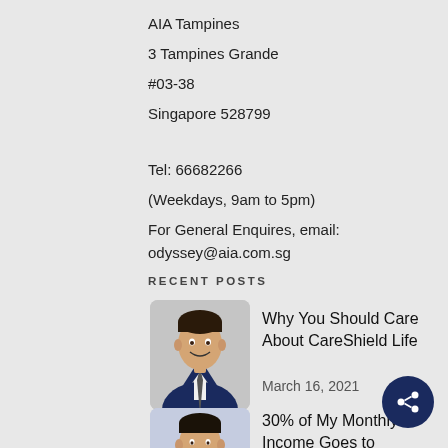AIA Tampines
3 Tampines Grande
#03-38
Singapore 528799
Tel: 66682266
(Weekdays, 9am to 5pm)
For General Enquires, email: odyssey@aia.com.sg
RECENT POSTS
[Figure (photo): Professional man in suit smiling]
Why You Should Care About CareShield Life
March 16, 2021
[Figure (photo): Young man in blue shirt holding documents]
30% of My Monthly Income Goes to Investments, Here's Why